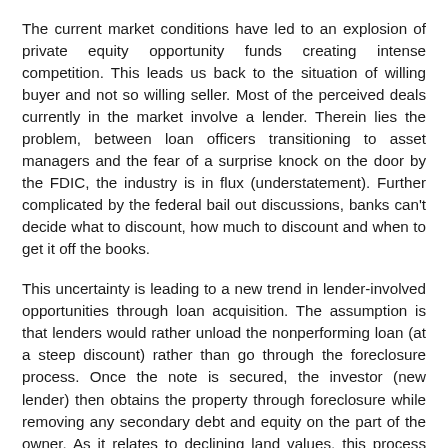The current market conditions have led to an explosion of private equity opportunity funds creating intense competition. This leads us back to the situation of willing buyer and not so willing seller. Most of the perceived deals currently in the market involve a lender. Therein lies the problem, between loan officers transitioning to asset managers and the fear of a surprise knock on the door by the FDIC, the industry is in flux (understatement). Further complicated by the federal bail out discussions, banks can't decide what to discount, how much to discount and when to get it off the books.
This uncertainty is leading to a new trend in lender-involved opportunities through loan acquisition. The assumption is that lenders would rather unload the nonperforming loan (at a steep discount) rather than go through the foreclosure process. Once the note is secured, the investor (new lender) then obtains the property through foreclosure while removing any secondary debt and equity on the part of the owner. As it relates to declining land values, this process helps adjacent properties by not actually proving a comparable sale.
Where does this leave us with respect to quantifying market